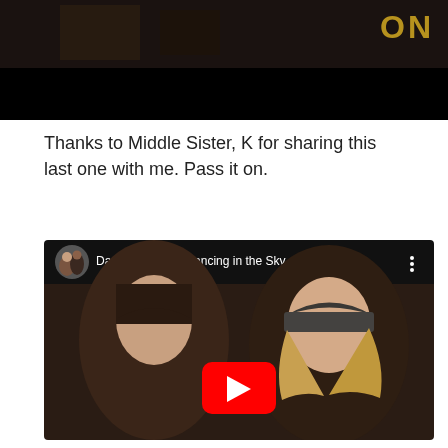[Figure (screenshot): Top portion of a video player showing a dark bar scene with letters 'O', 'N' partially visible, with a black bottom bar]
Thanks to Middle Sister, K for sharing this last one with me. Pass it on.
[Figure (screenshot): YouTube video embed showing 'Dani and Lizzy - Dancing in the Sky' with channel avatar, video title, three-dot menu, and thumbnail of two women looking down with red YouTube play button in center]